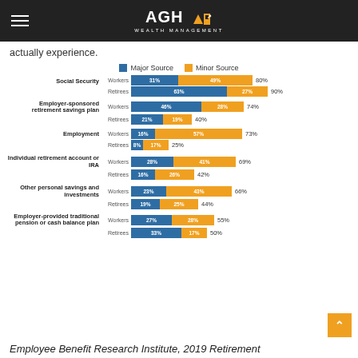AGH WEALTH MANAGEMENT
actually experience.
[Figure (stacked-bar-chart): Retirement Income Sources - Workers vs Retirees]
Employee Benefit Research Institute, 2019 Retirement